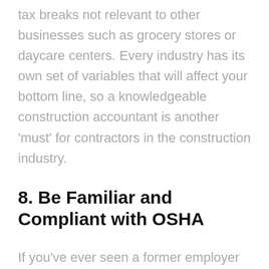tax breaks not relevant to other businesses such as grocery stores or daycare centers. Every industry has its own set of variables that will affect your bottom line, so a knowledgeable construction accountant is another 'must' for contractors in the construction industry.
8. Be Familiar and Compliant with OSHA
If you've ever seen a former employer slapped with a safety violation, you